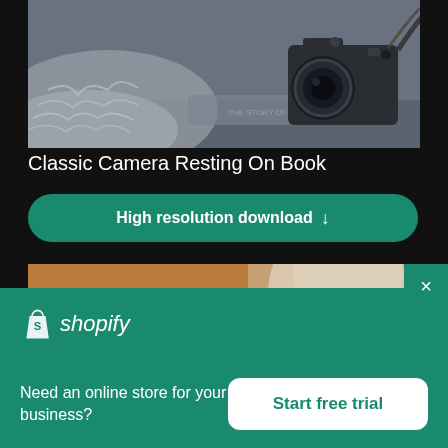[Figure (photo): A classic film camera resting on a book, with a knitted fabric/blanket in the foreground, dark moody tones]
Classic Camera Resting On Book
High resolution download ↓
[Figure (photo): Blurred background photo showing warm brown and cream tones, partial view of a mug or vase on a wooden surface]
×
[Figure (logo): Shopify logo - shopping bag icon with S, and italic shopify wordmark]
Need an online store for your business?
Start free trial